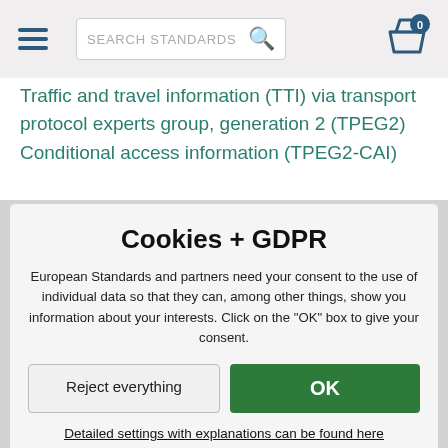SEARCH STANDARDS
Traffic and travel information (TTI) via transport protocol experts group, generation 2 (TPEG2) Conditional access information (TPEG2-CAI)
Cookies + GDPR
European Standards and partners need your consent to the use of individual data so that they can, among other things, show you information about your interests. Click on the "OK" box to give your consent.
Reject everything   OK
Detailed settings with explanations can be found here